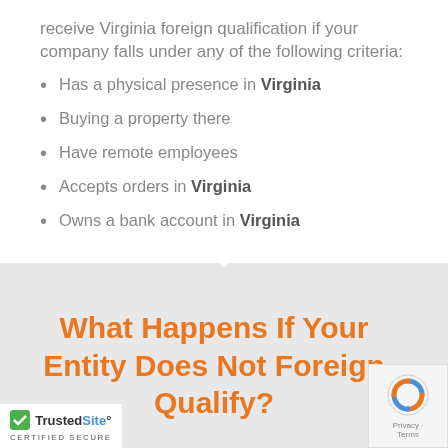receive Virginia foreign qualification if your company falls under any of the following criteria:
Has a physical presence in Virginia
Buying a property there
Have remote employees
Accepts orders in Virginia
Owns a bank account in Virginia
What Happens If Your Entity Does Not Foreign Qualify?